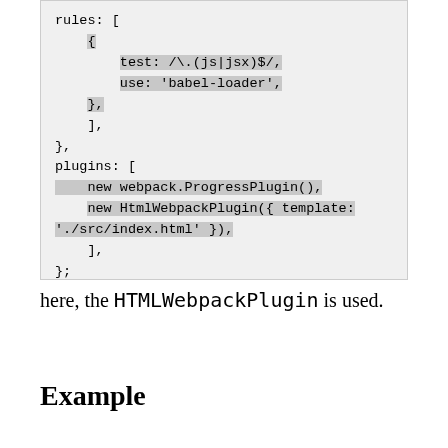[Figure (screenshot): Code block showing webpack config snippet with rules array containing babel-loader test, and plugins array with webpack.ProgressPlugin() and HtmlWebpackPlugin({ template: './src/index.html' }), closing brackets and semicolon]
here, the HTMLWebpackPlugin is used.
Example